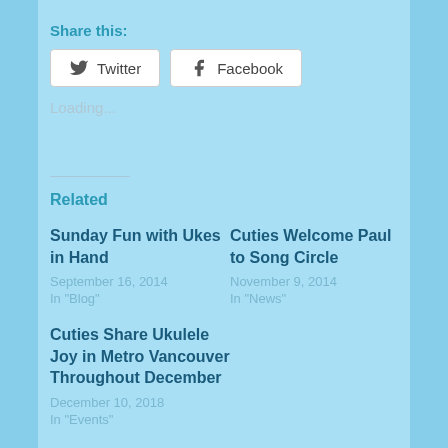Share this:
Twitter  Facebook
Loading...
Related
Sunday Fun with Ukes in Hand
September 16, 2014
In "Blog"
Cuties Welcome Paul to Song Circle
November 9, 2014
In "News"
Cuties Share Ukulele Joy in Metro Vancouver Throughout December
December 10, 2018
In "Events"